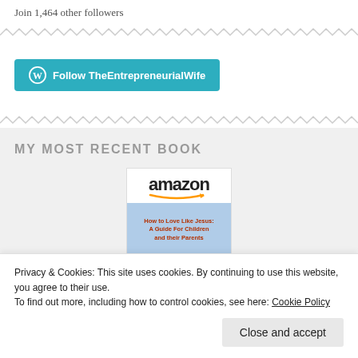Join 1,464 other followers
[Figure (other): Wavy/zigzag decorative divider line]
[Figure (other): Follow TheEntrepreneurialWife button with WordPress icon]
[Figure (other): Wavy/zigzag decorative divider line]
MY MOST RECENT BOOK
[Figure (photo): Amazon product listing image showing book: How to Love Like Jesus: A Guide For Children and their Parents]
Privacy & Cookies: This site uses cookies. By continuing to use this website, you agree to their use.
To find out more, including how to control cookies, see here: Cookie Policy
Close and accept